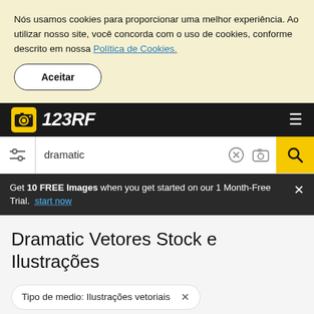Nós usamos cookies para proporcionar uma melhor experiência. Ao utilizar nosso site, você concorda com o uso de cookies, conforme descrito em nossa Política de Cookies.
Aceitar
[Figure (logo): 123RF logo with camera icon on dark background]
[Figure (screenshot): Search bar with filter icon, 'dramatic' query text, clear button, camera button, and yellow search button]
Get 10 FREE Images when you get started on our 1 Month-Free Trial. start now
Dramatic Vetores Stock e Ilustrações
Tipo de medio: Ilustrações vetoriais ×